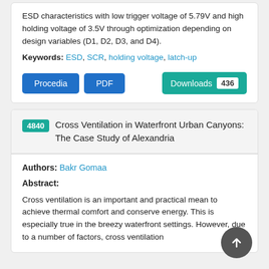ESD characteristics with low trigger voltage of 5.79V and high holding voltage of 3.5V through optimization depending on design variables (D1, D2, D3, and D4).
Keywords: ESD, SCR, holding voltage, latch-up
Procedia  PDF  Downloads 436
4840  Cross Ventilation in Waterfront Urban Canyons: The Case Study of Alexandria
Authors: Bakr Gomaa
Abstract:
Cross ventilation is an important and practical mean to achieve thermal comfort and conserve energy. This is especially true in the breezy waterfront settings. However, due to a number of factors, cross ventilation